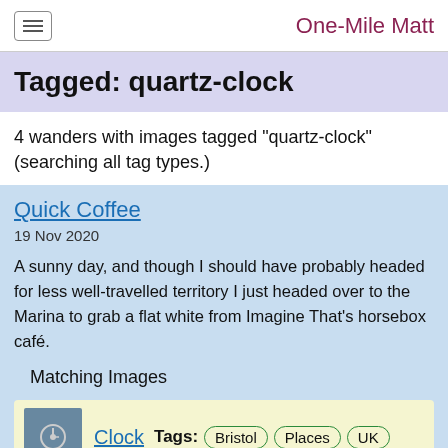One-Mile Matt
Tagged: quartz-clock
4 wanders with images tagged "quartz-clock" (searching all tag types.)
Quick Coffee
19 Nov 2020
A sunny day, and though I should have probably headed for less well-travelled territory I just headed over to the Marina to grab a flat white from Imagine That's horsebox café.
Matching Images
Clock  Tags: Bristol  Places  UK